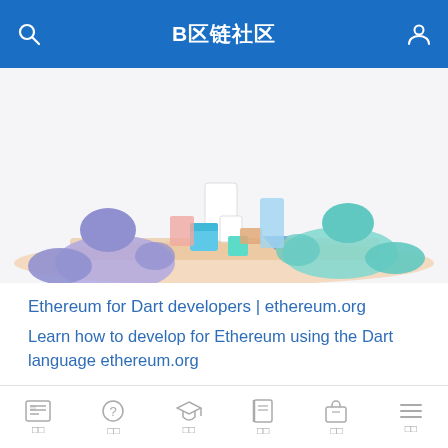B区链社区
[Figure (illustration): Cartoon illustration of people building with colored blocks on a table, soft pastel colors (blue and teal characters)]
Ethereum for Dart developers | ethereum.org
Learn how to develop for Ethereum using the Dart language ethereum.org
□□□□□□□□□ web3dart □□□□□ Relay □□□□□
[Figure (logo): pub.dev logo - Dart/Flutter package repository logo with blue geometric diamond shape and pub.dev text]
□□  □□  □□  □□  □□  □□